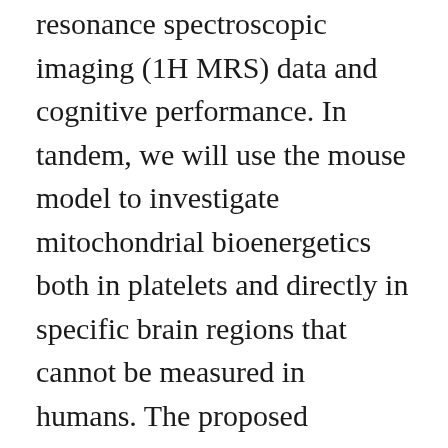resonance spectroscopic imaging (1H MRS) data and cognitive performance. In tandem, we will use the mouse model to investigate mitochondrial bioenergetics both in platelets and directly in specific brain regions that cannot be measured in humans. The proposed research seeks to develop novel data concerning the degree to which peripheral platelet mitochondrial respiration reflects central mitochondrial function both with respect to level of impairment and response to an intervention designed to provide an alternative energy substrate for central mitochondrial